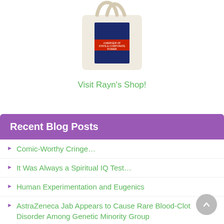[Figure (photo): Tote bag with a book cover design, cream/beige colored bag with a book graphic showing text about state and corporate power]
Visit Rayn's Shop!
Recent Blog Posts
Comic-Worthy Cringe…
It Was Always a Spiritual IQ Test…
Human Experimentation and Eugenics
AstraZeneca Jab Appears to Cause Rare Blood-Clot Disorder Among Genetic Minority Group
M.E.G.A. Woke
Remembering the Holodomor…